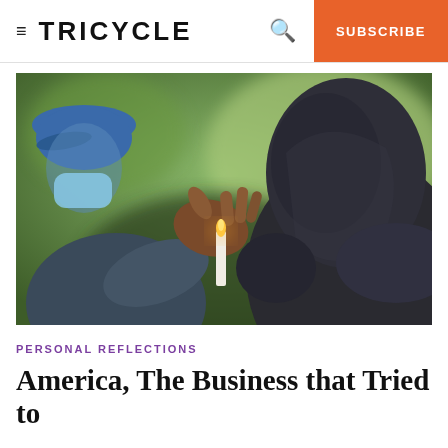≡ TRICYCLE  🔍  SUBSCRIBE
[Figure (photo): Two people at a candlelight vigil. One person on the left wears a blue cap and face mask and holds a lit white candle with an open hand. The other person on the right, seen from behind, wears a dark hooded sweatshirt. The background shows blurred green foliage.]
PERSONAL REFLECTIONS
America, The Business that Tried to